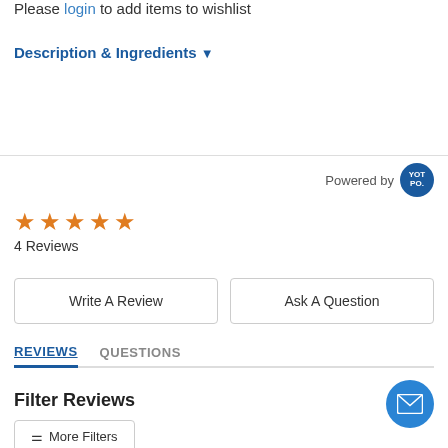Please login to add items to wishlist
Description & Ingredients ▼
Powered by YOTPO
[Figure (other): 5 orange star rating icons]
4 Reviews
Write A Review
Ask A Question
REVIEWS   QUESTIONS
Filter Reviews
≡ More Filters